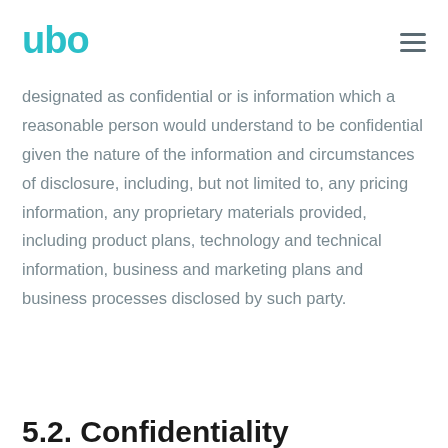ubo
designated as confidential or is information which a reasonable person would understand to be confidential given the nature of the information and circumstances of disclosure, including, but not limited to, any pricing information, any proprietary materials provided, including product plans, technology and technical information, business and marketing plans and business processes disclosed by such party.
5.2. Confidentiality